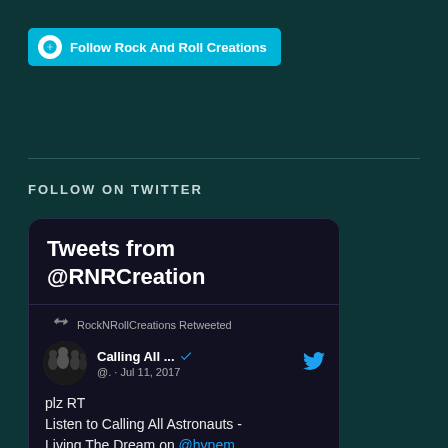[Figure (other): WordPress Follow button with cyan background reading 'Follow Rock And Roll Creations']
FOLLOW ON TWITTER
[Figure (screenshot): Twitter widget showing 'Tweets from @RNRCreation'. Contains a retweet from RockNRollCreations of a tweet by 'Calling All ...' (@.) dated Jul 11, 2017 that reads: 'plz RT Listen to Calling All Astronauts - Living The Dream on @hypem hypem.com/item/2f49w'. Shows a band photo avatar and partial image preview at bottom labeled 'CALLING ALL'.]